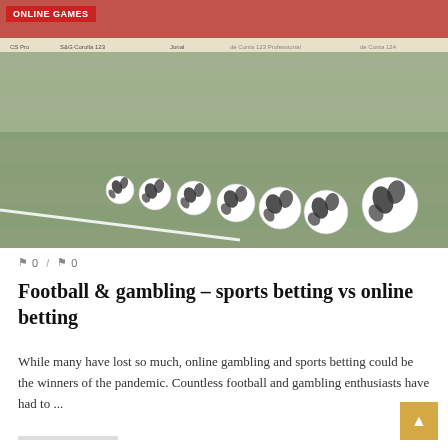ONLINE GAMES
[Figure (photo): Soccer balls lined up on a football pitch with stadium crowd in background and advertising boards visible]
0 / 0
Football & gambling – sports betting vs online betting
While many have lost so much, online gambling and sports betting could be the winners of the pandemic. Countless football and gambling enthusiasts have had to ...